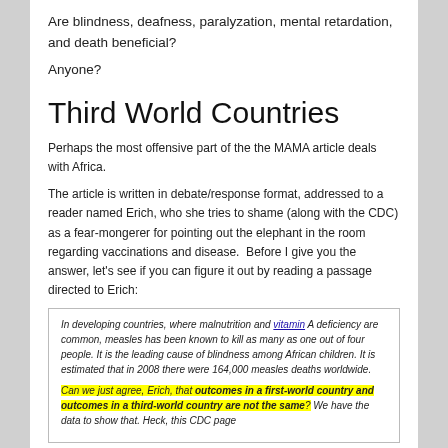Are blindness, deafness, paralyzation, mental retardation, and death beneficial?
Anyone?
Third World Countries
Perhaps the most offensive part of the the MAMA article deals with Africa.
The article is written in debate/response format, addressed to a reader named Erich, who she tries to shame (along with the CDC) as a fear-mongerer for pointing out the elephant in the room regarding vaccinations and disease.  Before I give you the answer, let's see if you can figure it out by reading a passage directed to Erich:
In developing countries, where malnutrition and vitamin A deficiency are common, measles has been known to kill as many as one out of four people. It is the leading cause of blindness among African children. It is estimated that in 2008 there were 164,000 measles deaths worldwide.

Can we just agree, Erich, that outcomes in a first-world country and outcomes in a third-world country are not the same? We have the data to show that. Heck, this CDC page